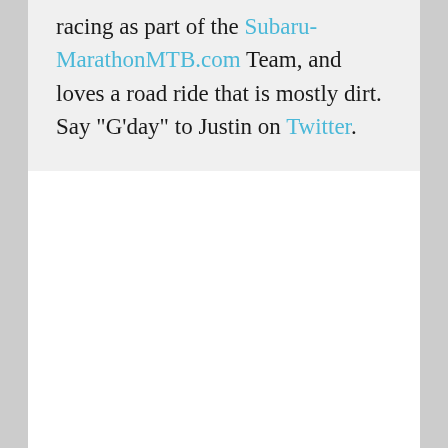racing as part of the Subaru-MarathonMTB.com Team, and loves a road ride that is mostly dirt. Say "G'day" to Justin on Twitter.